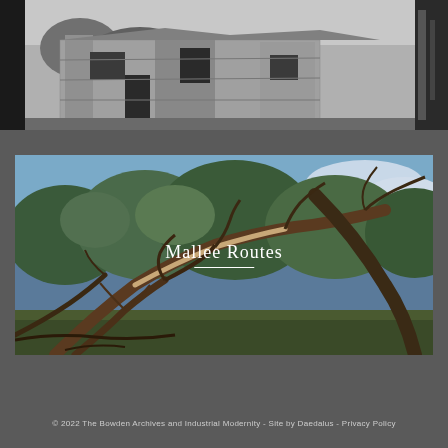[Figure (photo): Black and white photograph of a ruined stone building with no roof, showing stone masonry walls with window and door openings, with trees visible in the background.]
[Figure (photo): Colour photograph of mallee eucalyptus trees with twisted bare branches against a blue sky, with the text 'Mallee Routes' overlaid in white serif font with a horizontal line beneath.]
© 2022 The Bowden Archives and Industrial Modernity - Site by Daedalus - Privacy Policy